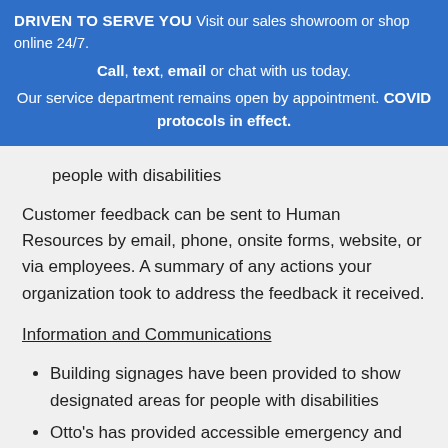DRIVEN TO SERVE YOU Visit our sales showroom or shop online 24/7. Call, text, email or chat with us today. Our service department remains open by appointment. COVID protocols in effect.
people with disabilities
Customer feedback can be sent to Human Resources by email, phone, onsite forms, website, or via employees. A summary of any actions your organization took to address the feedback it received.
Information and Communications
Building signages have been provided to show designated areas for people with disabilities
Otto's has provided accessible emergency and public safety information to staff